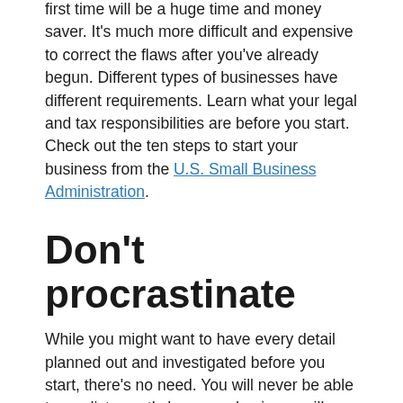first time will be a huge time and money saver. It's much more difficult and expensive to correct the flaws after you've already begun. Different types of businesses have different requirements. Learn what your legal and tax responsibilities are before you start. Check out the ten steps to start your business from the U.S. Small Business Administration.
Don't procrastinate
While you might want to have every detail planned out and investigated before you start, there's no need. You will never be able to predict exactly how your business will go so why fret about every little detail when your whole plan could blow up at the slightest change. No one ever really has all the pieces in place. You'd go crazy trying to figure out every possible route and solution. Do your research, scope out the market, have a basic plan, but don't let perfection